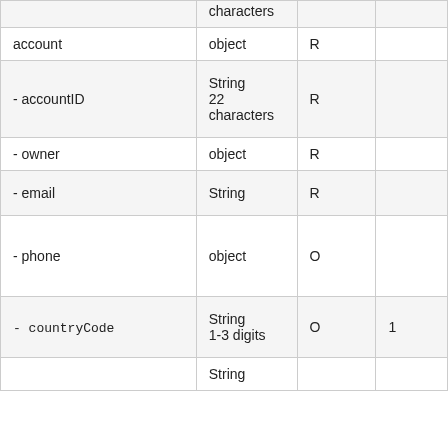| Field | Type | Req | Notes |
| --- | --- | --- | --- |
|  | characters |  |  |
| account | object | R |  |
| - accountID | String 22 characters | R |  |
| - owner | object | R |  |
| - email | String | R |  |
| - phone | object | O |  |
| - countryCode | String 1-3 digits | O | 1 |
|  | String |  |  |